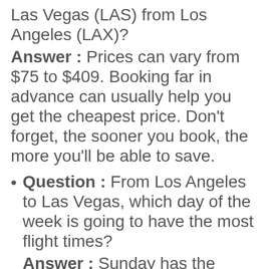Las Vegas (LAS) from Los Angeles (LAX)? Answer : Prices can vary from $75 to $409. Booking far in advance can usually help you get the cheapest price. Don't forget, the sooner you book, the more you'll be able to save.
Question : From Los Angeles to Las Vegas, which day of the week is going to have the most flight times? Answer : Sunday has the greatest variety of flight times for Los Angeles to Las Vegas with 95. Friday currently offers the least amount of flight times with 75 options.
Question : Can I change the date of my flight? Answer : Yes, you can switch your departure date. If you wish to save a little cash in doing so, the lowest-cost day to fly